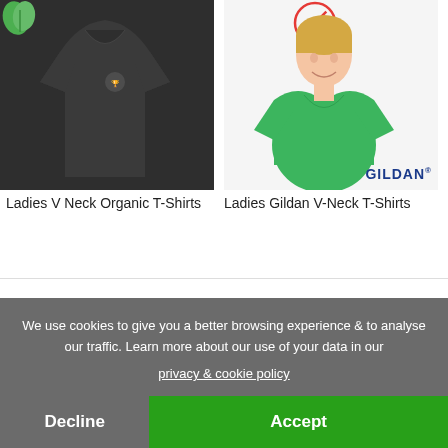[Figure (photo): Ladies V Neck dark grey organic t-shirt on mannequin with small logo on chest, green leaf logo top left corner]
[Figure (photo): Woman wearing ladies Gildan V-Neck green t-shirt, Gildan brand logo bottom right, sold-out circle icon top]
Ladies V Neck Organic T-Shirts
From £9.65
Ladies Gildan V-Neck T-Shirts
From £3.14
We use cookies to give you a better browsing experience & to analyse our traffic. Learn more about our use of your data in our privacy & cookie policy
Decline
Accept